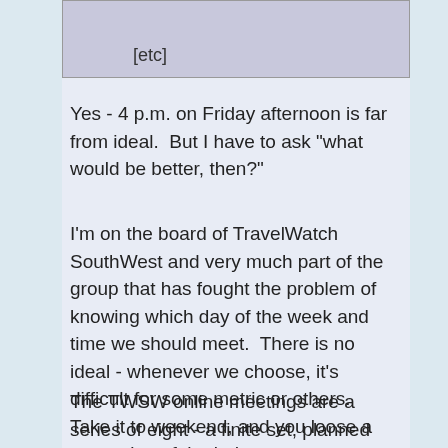[etc]
Yes - 4 p.m. on Friday afternoon is far from ideal.  But I have to ask "what would be better, then?"
I'm on the board of TravelWatch SouthWest and very much part of the group that has fought the problem of knowing which day of the week and time we should meet.  There is no ideal - whenever we choose, it's difficult for some metric or others.  Take it to weekend, and you loose a proportion of the industry managers and civil servants. Take it to a weekday and you loose a proportion of the "otherwise employed".
The TWSW online meetings are a series of eight - a finite set, planned to cover the current period of shutdown, and timed with